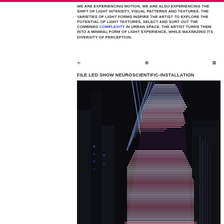WE ARE EXPERIENCING MOTION. WE ARE ALSO EXPERIENCING THE SHIFT OF LIGHT INTENSITY, VISUAL PATTERNS AND TEXTURES. THE VARIETIES OF LIGHT FORMS INSPIRE THE ARTIST TO EXPLORE THE POTENTIAL OF LIGHT TEXTURES, SELECT AND SORT OUT THE COMBINED COMPLEXITY IN URBAN SPACE. THE ARTIST TURNS THEM INTO A MINIMAL FORM OF LIGHT EXPERIENCE, WHILE MAXIMIZING ITS DIVERSITY OF PERCEPTION.
FILE LED SHOW NEUROSCIENTIFIC-INSTALLATION
[Figure (photo): Nighttime photograph of an illuminated LED architectural installation on a building or tower structure. The building facade features a bright white/pink LED pixel grid display forming a large trapezoidal/triangular shape. Background shows a dark city skyline at night.]